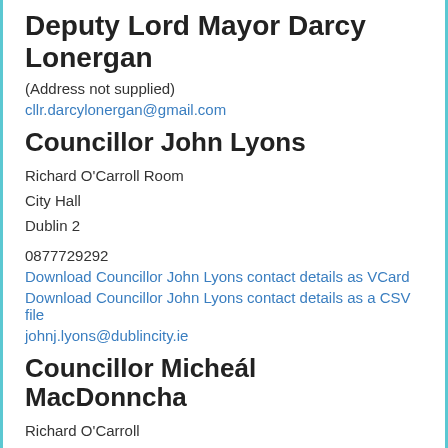Deputy Lord Mayor Darcy Lonergan
(Address not supplied)
cllr.darcylonergan@gmail.com
Councillor John Lyons
Richard O'Carroll Room
City Hall
Dublin 2
0877729292
Download Councillor John Lyons contact details as VCard
Download Councillor John Lyons contact details as a CSV file
johnj.lyons@dublincity.ie
Councillor Micheál MacDonncha
Richard O'Carroll
City Hall
Dublin 2